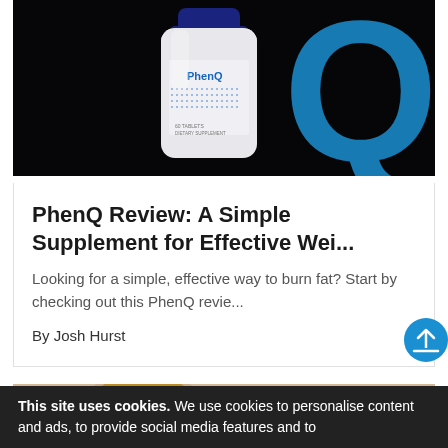[Figure (photo): PhenQ supplement bottle on dark background with glowing blue Q logo]
PhenQ Review: A Simple Supplement for Effective Wei...
Looking for a simple, effective way to burn fat? Start by checking out this PhenQ revie...
By Josh Hurst
[Figure (photo): Woman with curly hair looking down, decorative object in background]
This site uses cookies. We use cookies to personalise content and ads, to provide social media features and to